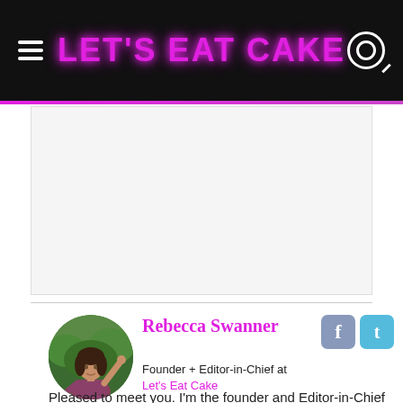LET'S EAT CAKE
[Figure (photo): Advertisement placeholder area, light gray background]
[Figure (photo): Circular profile photo of Rebecca Swanner, a woman with dark hair raising her hand, outdoors with greenery background]
Rebecca Swanner
Founder + Editor-in-Chief at Let's Eat Cake
Pleased to meet you. I'm the founder and Editor-in-Chief of Let's Eat Cake: The world's first smart, funny lifestyle